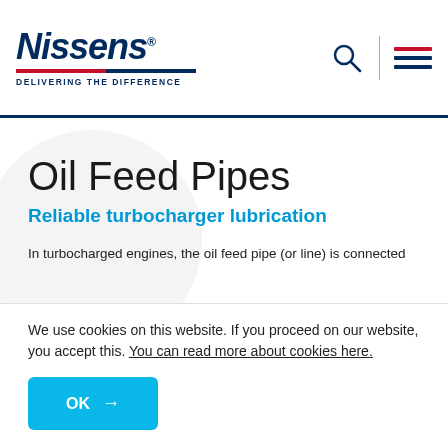Nissens — Delivering the Difference
Oil Feed Pipes
Reliable turbocharger lubrication
In turbocharged engines, the oil feed pipe (or line) is connected to the engine lubrication system.
Its main function is to secure appropriate lubrication needed for
We use cookies on this website. If you proceed on our website, you accept this. You can read more about cookies here.